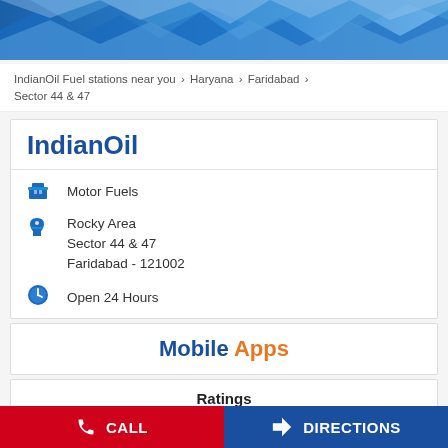[Figure (illustration): Blue geometric wave header banner with triangular/polygon shapes in shades of blue and light blue]
IndianOil Fuel stations near you > Haryana > Faridabad > Sector 44 & 47
IndianOil
Motor Fuels
Rocky Area
Sector 44 & 47
Faridabad - 121002
Open 24 Hours
Mobile Apps
Ratings
[Figure (illustration): Orange circular rating badge/icon partially visible]
CALL
DIRECTIONS